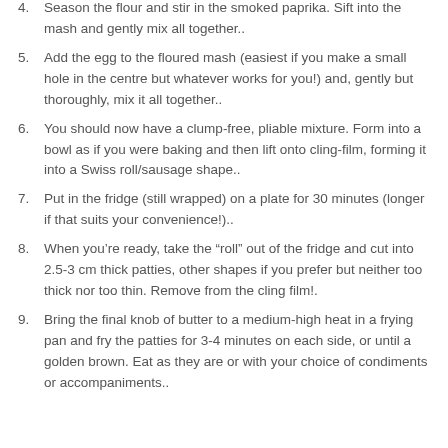4. Season the flour and stir in the smoked paprika. Sift into the mash and gently mix all together..
5. Add the egg to the floured mash (easiest if you make a small hole in the centre but whatever works for you!) and, gently but thoroughly, mix it all together..
6. You should now have a clump-free, pliable mixture. Form into a bowl as if you were baking and then lift onto cling-film, forming it into a Swiss roll/sausage shape..
7. Put in the fridge (still wrapped) on a plate for 30 minutes (longer if that suits your convenience!)..
8. When you’re ready, take the “roll” out of the fridge and cut into 2.5-3 cm thick patties, other shapes if you prefer but neither too thick nor too thin. Remove from the cling film!.
9. Bring the final knob of butter to a medium-high heat in a frying pan and fry the patties for 3-4 minutes on each side, or until a golden brown. Eat as they are or with your choice of condiments or accompaniments..